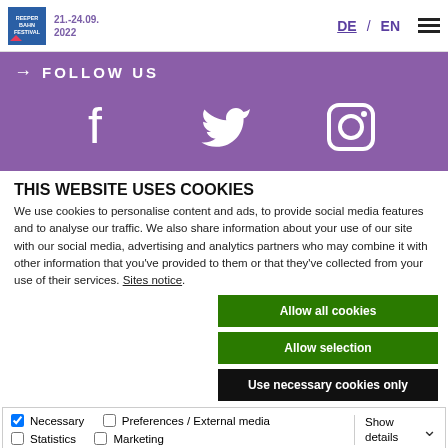Reeperbahn Festival 21.-24.09. 2022 | DE / EN
[Figure (screenshot): Purple banner with 'FOLLOW US' heading and social media icons for Facebook, Twitter, and Instagram]
THIS WEBSITE USES COOKIES
We use cookies to personalise content and ads, to provide social media features and to analyse our traffic. We also share information about your use of our site with our social media, advertising and analytics partners who may combine it with other information that you've provided to them or that they've collected from your use of their services. Sites notice.
Allow all cookies | Allow selection | Use necessary cookies only
Necessary | Preferences / External media | Statistics | Marketing | Show details